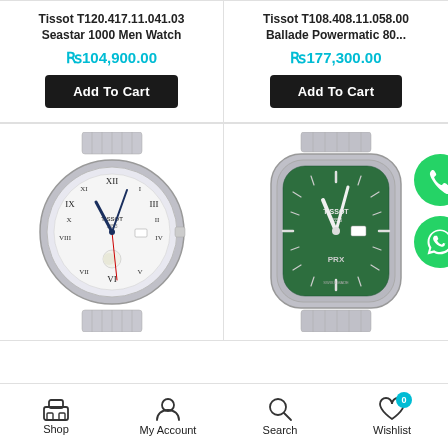Tissot T120.417.11.041.03 Seastar 1000 Men Watch
Rs104,900.00
Tissot T108.408.11.058.00 Ballade Powermatic 80...
Rs177,300.00
[Figure (photo): Tissot Seastar 1000 watch with white dial and Roman numerals, moon phase, silver bracelet]
[Figure (photo): Tissot PRX watch with green dial, silver case and bracelet]
Shop  My Account  Search  Wishlist